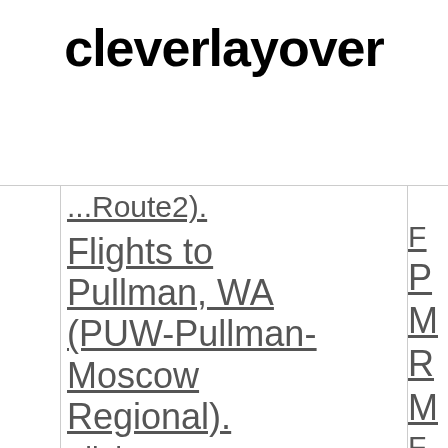cleverlayover
...Route2).
Flights to Pullman, WA (PUW-Pullman-Moscow Regional).
Flights to... (partially visible on right)